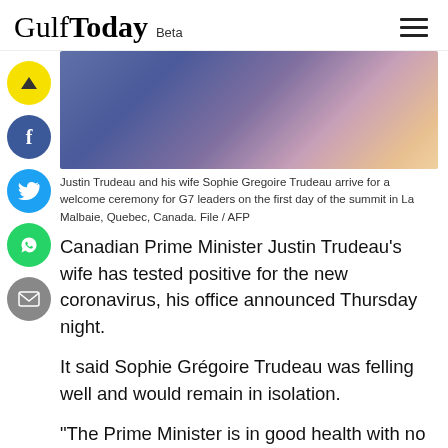Gulf Today Beta
[Figure (photo): Justin Trudeau in a dark blue suit and a woman in a pink outfit, blurred background, arriving at G7 summit.]
Justin Trudeau and his wife Sophie Gregoire Trudeau arrive for a welcome ceremony for G7 leaders on the first day of the summit in La Malbaie, Quebec, Canada. File / AFP
Canadian Prime Minister Justin Trudeau's wife has tested positive for the new coronavirus, his office announced Thursday night.
It said Sophie Grégoire Trudeau was felling well and would remain in isolation.
"The Prime Minister is in good health with no symptoms. As a precautionary measure and